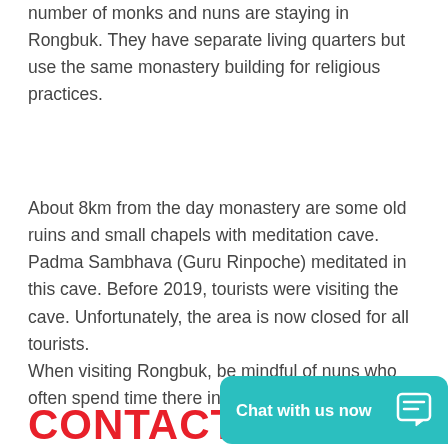number of monks and nuns are staying in Rongbuk. They have separate living quarters but use the same monastery building for religious practices.
About 8km from the day monastery are some old ruins and small chapels with meditation cave. Padma Sambhava (Guru Rinpoche) meditated in this cave. Before 2019, tourists were visiting the cave. Unfortunately, the area is now closed for all tourists.
When visiting Rongbuk, be mindful of nuns who often spend time there in silent retreats.
CONTACT U
Chat with us now